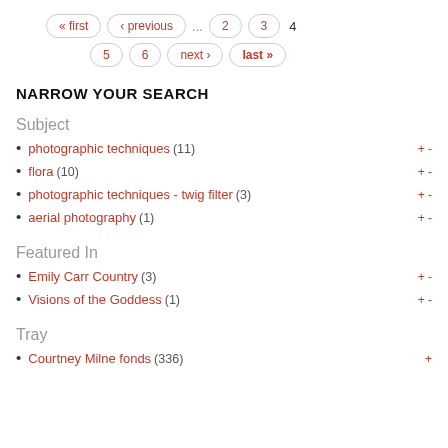« first ‹ previous ... 2 3 4 5 6 next › last »
NARROW YOUR SEARCH
Subject
photographic techniques (11)
flora (10)
photographic techniques - twig filter (3)
aerial photography (1)
Featured In
Emily Carr Country (3)
Visions of the Goddess (1)
Tray
Courtney Milne fonds (336)